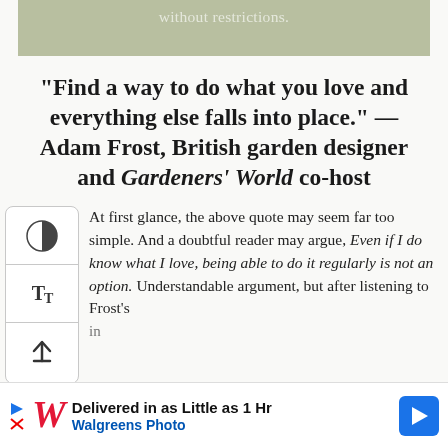without restrictions.
“Find a way to do what you love and everything else falls into place.” —Adam Frost, British garden designer and Gardeners’ World co-host
At first glance, the above quote may seem far too simple. And a doubtful reader may argue, Even if I do know what I love, being able to do it regularly is not an option. Understandable argument, but after listening to Frost’s in
[Figure (infographic): Advertisement banner: Walgreens Photo - Delivered in as Little as 1 Hr]